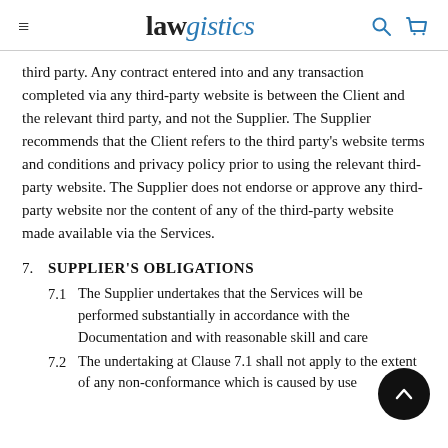lawgistics
third party. Any contract entered into and any transaction completed via any third-party website is between the Client and the relevant third party, and not the Supplier. The Supplier recommends that the Client refers to the third party's website terms and conditions and privacy policy prior to using the relevant third-party website. The Supplier does not endorse or approve any third-party website nor the content of any of the third-party website made available via the Services.
7.  SUPPLIER'S OBLIGATIONS
7.1  The Supplier undertakes that the Services will be performed substantially in accordance with the Documentation and with reasonable skill and care
7.2  The undertaking at Clause 7.1 shall not apply to the extent of any non-conformance which is caused by use